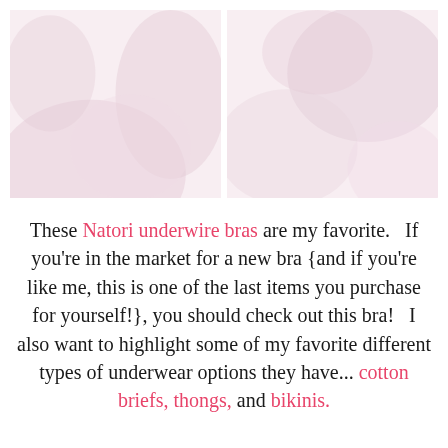[Figure (photo): Two side-by-side product/lifestyle photos of Natori underwire bras on a light pink/white background]
These Natori underwire bras are my favorite.   If you're in the market for a new bra {and if you're like me, this is one of the last items you purchase for yourself!}, you should check out this bra!   I also want to highlight some of my favorite different types of underwear options they have...cotton briefs, thongs, and bikinis.